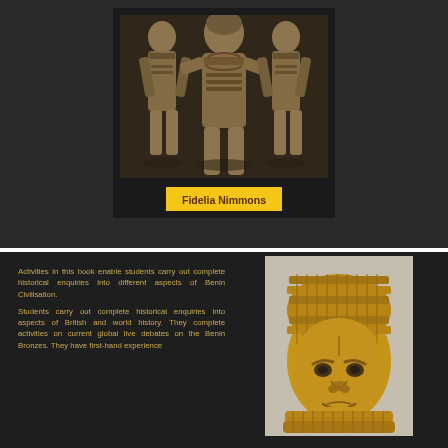[Figure (photo): Black and white photograph of three Benin bronze figures/sculptures showing warriors or royalty, framed with dark matting, displayed with a yellow name label reading 'Fidelia Nimmons']
Fidelia Nimmons
Activities in this book enable students carry out complete historical enquiries into different aspects of Benin Civilisation. Students carry out complete historical enquiries into aspects of British and world history. They complete activities on current global live debates on the Benin Bronzes. They have first-hand experience
[Figure (photo): Color photograph of a Benin bronze head sculpture with coral bead headdress and collar, golden-brown metal, displayed against a light background]